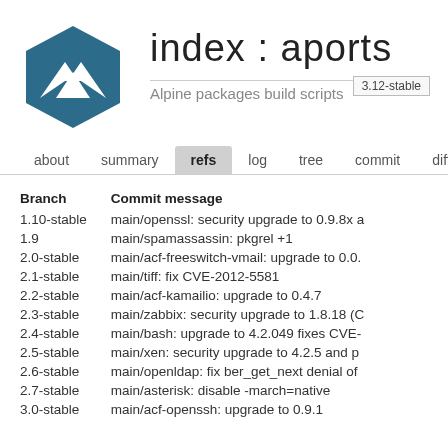[Figure (logo): Alpine Linux hexagonal logo with white mountain/chevron icon on dark teal background]
index : aports
3.12-stable
Alpine packages build scripts
about  summary  refs  log  tree  commit  diff  stat
| Branch | Commit message |
| --- | --- |
| 1.10-stable | main/openssl: security upgrade to 0.9.8x a |
| 1.9 | main/spamassassin: pkgrel +1 |
| 2.0-stable | main/acf-freeswitch-vmail: upgrade to 0.0. |
| 2.1-stable | main/tiff: fix CVE-2012-5581 |
| 2.2-stable | main/acf-kamailio: upgrade to 0.4.7 |
| 2.3-stable | main/zabbix: security upgrade to 1.8.18 (C |
| 2.4-stable | main/bash: upgrade to 4.2.049 fixes CVE- |
| 2.5-stable | main/xen: security upgrade to 4.2.5 and p |
| 2.6-stable | main/openldap: fix ber_get_next denial of |
| 2.7-stable | main/asterisk: disable -march=native |
| 3.0-stable | main/acf-openssh: upgrade to 0.9.1 |